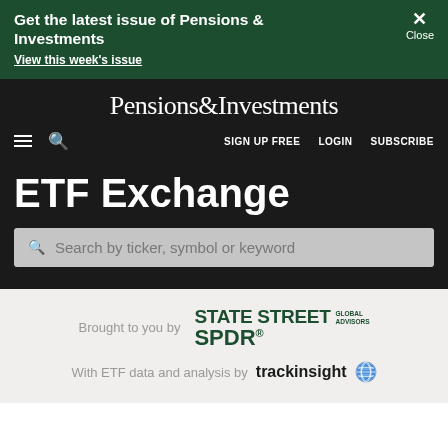Get the latest issue of Pensions & Investments
View this week's issue
[Figure (logo): Pensions & Investments site logo]
SIGN UP FREE   LOGIN   SUBSCRIBE
ETF Exchange
Search by ticker, symbol or keyword
Brought to you by
[Figure (logo): State Street Global Advisors SPDR logo]
With ETF data and analysis by trackinsight